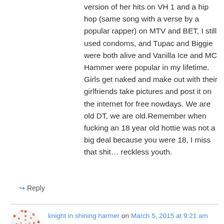version of her hits on VH 1 and a hip hop (same song with a verse by a popular rapper) on MTV and BET, I still used condoms, and Tupac and Biggie were both alive and Vanilla Ice and MC Hammer were popular in my lifetime. Girls get naked and make out with their girlfriends take pictures and post it on the internet for free nowdays. We are old DT, we are old.Remember when fucking an 18 year old hottie was not a big deal because you were 18, I miss that shit… reckless youth.
↪ Reply
knight in shining harmer on March 5, 2015 at 9:21 am
I'm starting to feel the same way about being